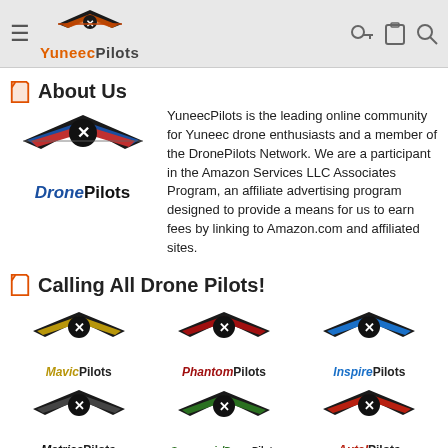YuneecPilots
About Us
[Figure (logo): DronePilots Network logo with wing emblem and text DronePilots in blue/orange]
YuneecPilots is the leading online community for Yuneec drone enthusiasts and a member of the DronePilots Network. We are a participant in the Amazon Services LLC Associates Program, an affiliate advertising program designed to provide a means for us to earn fees by linking to Amazon.com and affiliated sites.
Calling All Drone Pilots!
[Figure (logo): Grid of drone pilot community logos: MavicPilots, PhantomPilots, InspirePilots, MatricePilots, CommercialDronePilots, AutelPilots, and partial row at bottom]